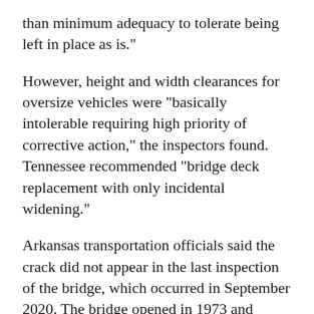than minimum adequacy to tolerate being left in place as is."
However, height and width clearances for oversize vehicles were "basically intolerable requiring high priority of corrective action," the inspectors found. Tennessee recommended "bridge deck replacement with only incidental widening."
Arkansas transportation officials said the crack did not appear in the last inspection of the bridge, which occurred in September 2020. The bridge opened in 1973 and carries an average of about 50,000 vehicles a day, with about a quarter being trucks, Tennessee transportation officials said.
Tugboats pushing barges could be seen passing under